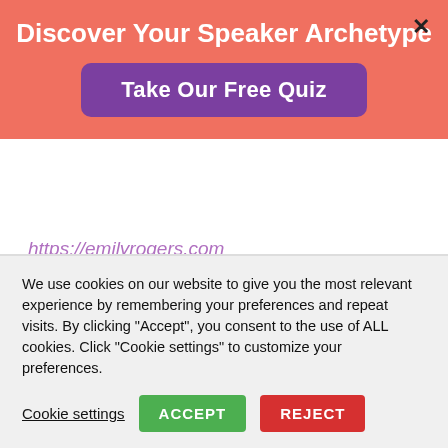Discover Your Speaker Archetype
Take Our Free Quiz
https://emilyrogers.com
Books mentioned:
The Extended Mind by Annie Murphy Paul
We use cookies on our website to give you the most relevant experience by remembering your preferences and repeat visits. By clicking "Accept", you consent to the use of ALL cookies. Click "Cookie settings" to customize your preferences.
Cookie settings
ACCEPT
REJECT